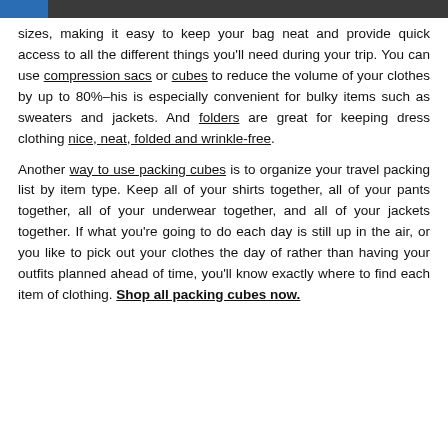sizes, making it easy to keep your bag neat and provide quick access to all the different things you'll need during your trip. You can use compression sacs or cubes to reduce the volume of your clothes by up to 80%–his is especially convenient for bulky items such as sweaters and jackets. And folders are great for keeping dress clothing nice, neat, folded and wrinkle-free.
Another way to use packing cubes is to organize your travel packing list by item type. Keep all of your shirts together, all of your pants together, all of your underwear together, and all of your jackets together. If what you're going to do each day is still up in the air, or you like to pick out your clothes the day of rather than having your outfits planned ahead of time, you'll know exactly where to find each item of clothing. Shop all packing cubes now.